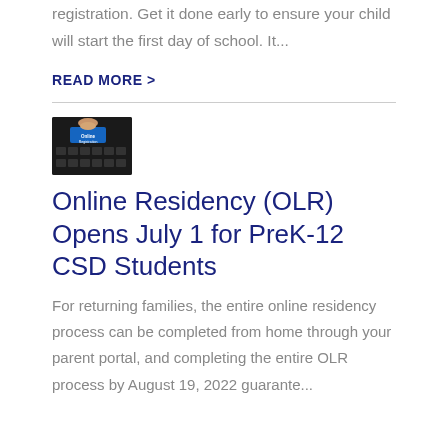registration. Get it done early to ensure your child will start the first day of school. It...
READ MORE >
[Figure (photo): A finger pressing a blue online registration key on a keyboard]
Online Residency (OLR) Opens July 1 for PreK-12 CSD Students
For returning families, the entire online residency process can be completed from home through your parent portal, and completing the entire OLR process by August 19, 2022 guarante...